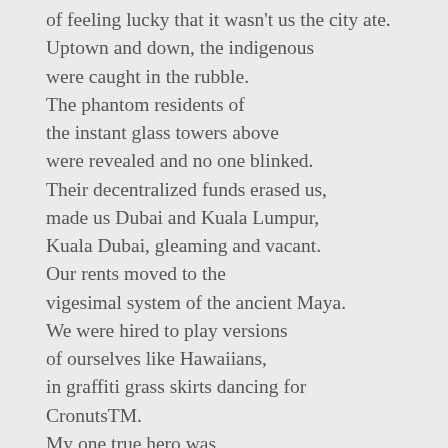of feeling lucky that it wasn't us the city ate. Uptown and down, the indigenous were caught in the rubble. The phantom residents of the instant glass towers above were revealed and no one blinked. Their decentralized funds erased us, made us Dubai and Kuala Lumpur, Kuala Dubai, gleaming and vacant. Our rents moved to the vigesimal system of the ancient Maya. We were hired to play versions of ourselves like Hawaiians, in graffiti grass skirts dancing for CronutsTM. My one true hero was the mummy Buddha monk of Ulaanbaatar, stiff but alive, dusty in his rainbow body. I invoked him every time a new Brooklyn asshole